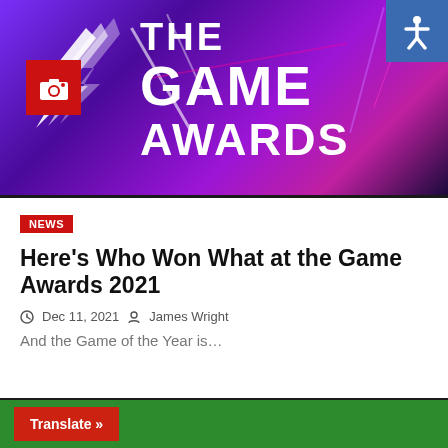[Figure (illustration): The Game Awards 2021 promotional banner with purple/violet gradient background, decorative light streaks, wing logo on left, camera icon in red box, THE GAME AWARDS text in white bold, accessibility icon top right]
NEWS
Here’s Who Won What at the Game Awards 2021
Dec 11, 2021  James Wright
And the Game of the Year is…
Translate »